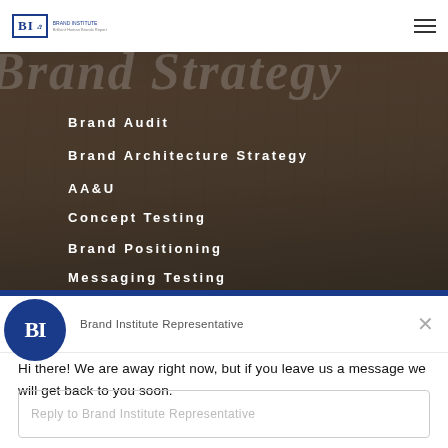BI Brand Institute
[Figure (photo): Background photo of people working around a table with devices, overlaid with dark semi-transparent layer. Large faint italic text reads 'Brand Strategy' in background.]
Brand Audit
Brand Architecture Strategy
AA&U
Concept Testing
Brand Positioning
Messaging Testing
Brand Institute Representative
Hi there! We are away right now, but if you leave us a message we will get back to you soon.
Reply to Brand Institute Representative